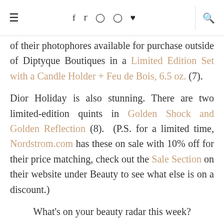≡  f  t  Instagram  Pinterest  ♥  |  Search
of their photophores available for purchase outside of Diptyque Boutiques in a Limited Edition Set with a Candle Holder + Feu de Bois, 6.5 oz. (7).
Dior Holiday is also stunning. There are two limited-edition quints in Golden Shock and Golden Reflection (8). (P.S. for a limited time, Nordstrom.com has these on sale with 10% off for their price matching, check out the Sale Section on their website under Beauty to see what else is on a discount.)
What's on your beauty radar this week?
CHANEL
DIOR
DIPTYQUE
EDWARD BESS
JO MALONE
LOCCITANE